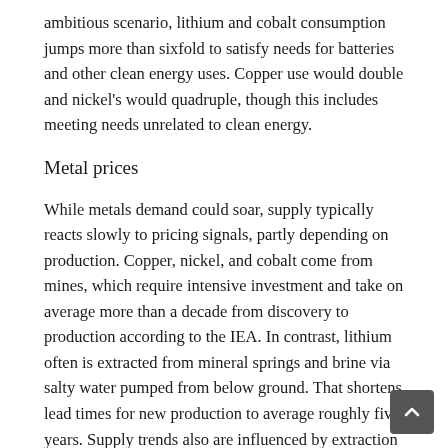ambitious scenario, lithium and cobalt consumption jumps more than sixfold to satisfy needs for batteries and other clean energy uses. Copper use would double and nickel's would quadruple, though this includes meeting needs unrelated to clean energy.
Metal prices
While metals demand could soar, supply typically reacts slowly to pricing signals, partly depending on production. Copper, nickel, and cobalt come from mines, which require intensive investment and take on average more than a decade from discovery to production according to the IEA. In contrast, lithium often is extracted from mineral springs and brine via salty water pumped from below ground. That shortens lead times for new production to average roughly five years. Supply trends also are influenced by extraction technology innovation, market concentration, and environmental regulations. The combination of soaring demand and slower supply changes can spur prices to climb. In fact, if mining had to satisfy consumption under the IEA's net-zero scenario, our recent IMF analysis shows prices could reach historical peaks for an unprecedented length of time—and those higher costs could eve